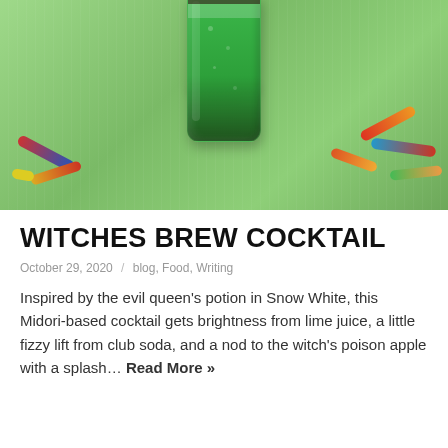[Figure (photo): A green cocktail in a glass surrounded by colorful gummy worms on a green cloth background. The drink is bright green (Midori-based), with crushed topping visible. Gummy worms in red, blue, yellow, orange, and green colors are scattered around the base of the glass.]
WITCHES BREW COCKTAIL
October 29, 2020 / blog, Food, Writing
Inspired by the evil queen's potion in Snow White, this Midori-based cocktail gets brightness from lime juice, a little fizzy lift from club soda, and a nod to the witch's poison apple with a splash… Read More »